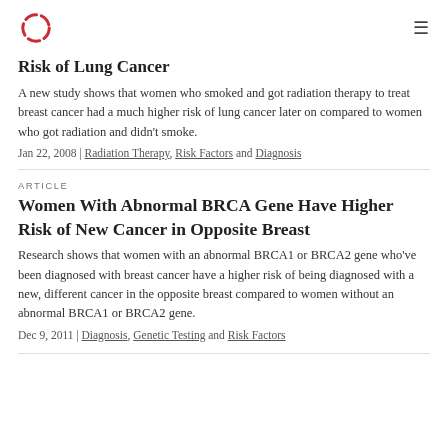[Logo] [Menu]
Risk of Lung Cancer
A new study shows that women who smoked and got radiation therapy to treat breast cancer had a much higher risk of lung cancer later on compared to women who got radiation and didn't smoke.
Jan 22, 2008 | Radiation Therapy, Risk Factors and Diagnosis
ARTICLE
Women With Abnormal BRCA Gene Have Higher Risk of New Cancer in Opposite Breast
Research shows that women with an abnormal BRCA1 or BRCA2 gene who've been diagnosed with breast cancer have a higher risk of being diagnosed with a new, different cancer in the opposite breast compared to women without an abnormal BRCA1 or BRCA2 gene.
Dec 9, 2011 | Diagnosis, Genetic Testing and Risk Factors